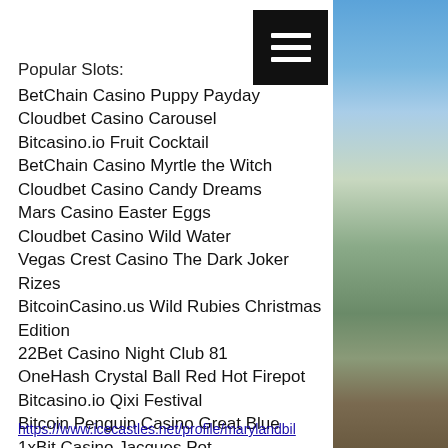[Figure (photo): Outdoor photo showing blue sky, trees with foliage, and a wooden structure/railing on the right side of the page]
[Figure (other): Black hamburger menu button with three white horizontal lines]
Popular Slots:
BetChain Casino Puppy Payday
Cloudbet Casino Carousel
Bitcasino.io Fruit Cocktail
BetChain Casino Myrtle the Witch
Cloudbet Casino Candy Dreams
Mars Casino Easter Eggs
Cloudbet Casino Wild Water
Vegas Crest Casino The Dark Joker Rizes
BitcoinCasino.us Wild Rubies Christmas Edition
22Bet Casino Night Club 81
OneHash Crystal Ball Red Hot Firepot
Bitcasino.io Qixi Festival
Bitcoin Penguin Casino Great Blue
1xBit Casino Jacques Pot
mBit Casino Jungle Boogie
https://www.icecastles.net/profile/marylandbil